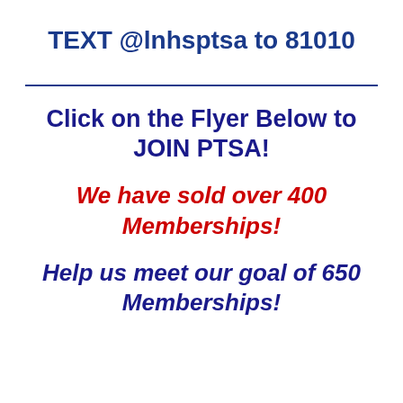TEXT @lnhsptsa to 81010
Click on the Flyer Below to JOIN PTSA!
We have sold over 400 Memberships!
Help us meet our goal of 650 Memberships!